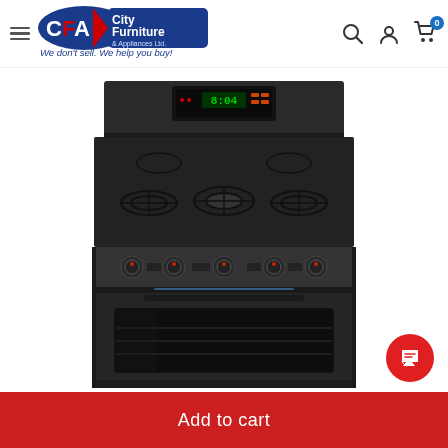[Figure (logo): City Furniture & Appliances Ltd. logo with tagline 'We don't sell, We help you buy!']
[Figure (photo): Frigidaire black stainless steel freestanding gas range with 5 burners, digital control panel, and oven window]
Add to cart